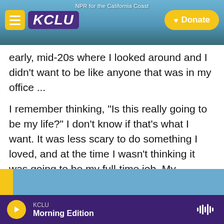[Figure (screenshot): KCLU NPR radio station website header with navigation bar showing hamburger menu, KCLU logo in purple, 'NPR for the California Coast' tagline, and yellow Donate button. Background shows coastal city/beach photo.]
early, mid-20s where I looked around and I didn't want to be like anyone that was in my office ...
I remember thinking, "Is this really going to be my life?" I don't know if that's what I want. It was less scary to do something I loved, and at the time I wasn't thinking it was going to be my full-time job. My aspiration wasn't to be a full-time musician, it was simply: "I want to work less hours and just play in a band on the side." That was the first thing I wanted. And then from there every year I wanted a little more, until it just grew and grew.
KCLU Morning Edition